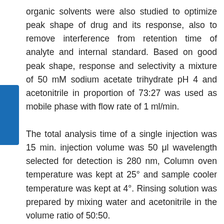organic solvents were also studied to optimize peak shape of drug and its response, also to remove interference from retention time of analyte and internal standard. Based on good peak shape, response and selectivity a mixture of 50 mM sodium acetate trihydrate pH 4 and acetonitrile in proportion of 73:27 was used as mobile phase with flow rate of 1 ml/min.
The total analysis time of a single injection was 15 min. injection volume was 50 μl wavelength selected for detection is 280 nm, Column oven temperature was kept at 25° and sample cooler temperature was kept at 4°. Rinsing solution was prepared by mixing water and acetonitrile in the volume ratio of 50:50.